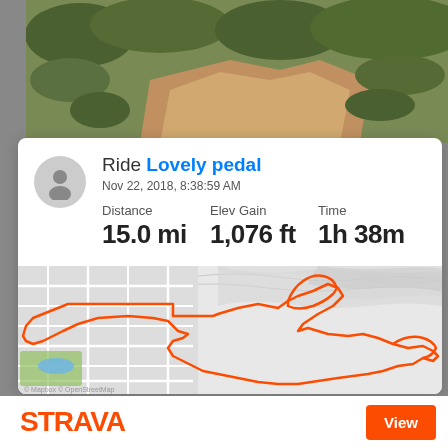[Figure (photo): Desert trail photo showing a dirt path winding through scrubby desert vegetation with green bushes and reddish-orange soil]
Ride Lovely pedal
Nov 22, 2018, 8:38:59 AM
Distance 15.0 mi
Elev Gain 1,076 ft
Time 1h 38m
[Figure (map): Strava route map showing an orange GPS trail route over a gray topographic map background. The route forms a large loop with complex winding paths through what appears to be desert terrain with a street grid visible on the left side.]
STRAVA
View